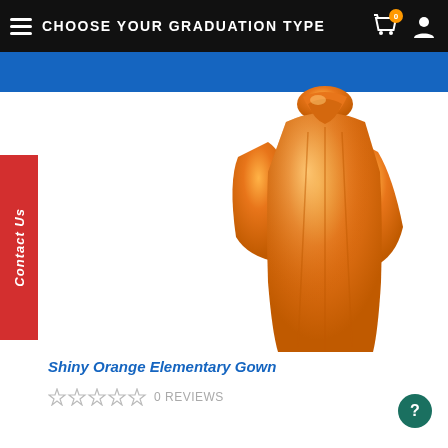CHOOSE YOUR GRADUATION TYPE
Contact Us
[Figure (photo): Shiny orange graduation gown displayed without a wearer, showing draped fabric with satin sheen and collar detail]
Shiny Orange Elementary Gown
0 REVIEWS